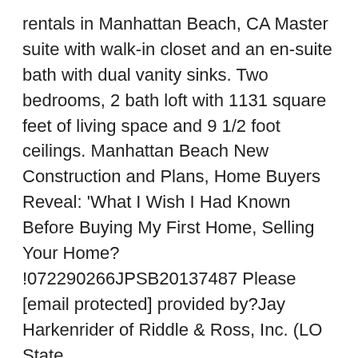rentals in Manhattan Beach, CA Master suite with walk-in closet and an en-suite bath with dual vanity sinks. Two bedrooms, 2 bath loft with 1131 square feet of living space and 9 1/2 foot ceilings. Manhattan Beach New Construction and Plans, Home Buyers Reveal: 'What I Wish I Had Known Before Buying My First Home, Selling Your Home? !072290266JPSB20137487 Please [email protected] provided by?Jay Harkenrider of Riddle & Ross, Inc. (LO State License:00281248)310Leases.comNo Pets Allowed(RLNE5980143), Ocean View House in Manhattan Beach Hill Section Prime location, best schools, walk to shops, beach, pier. A block and half to the beach, short distance to downtown Manhattan Beach with the pier, shopping, restaurants, yet this is a very quiet spot. Washer & dryer included in the unit. This classic home has custom touches, with new